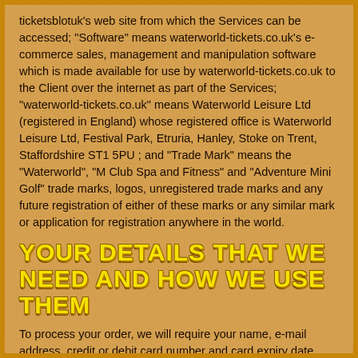ticketsblotuk's web site from which the Services can be accessed; "Software" means waterworld-tickets.co.uk's e-commerce sales, management and manipulation software which is made available for use by waterworld-tickets.co.uk to the Client over the internet as part of the Services; "waterworld-tickets.co.uk" means Waterworld Leisure Ltd (registered in England) whose registered office is Waterworld Leisure Ltd, Festival Park, Etruria, Hanley, Stoke on Trent, Staffordshire ST1 5PU ; and "Trade Mark" means the "Waterworld", "M Club Spa and Fitness" and "Adventure Mini Golf" trade marks, logos, unregistered trade marks and any future registration of either of these marks or any similar mark or application for registration anywhere in the world.
YOUR DETAILS THAT WE NEED AND HOW WE USE THEM
To process your order, we will require your name, e-mail address, credit or debit card number and card expiry date. Without this information we are unable to process your